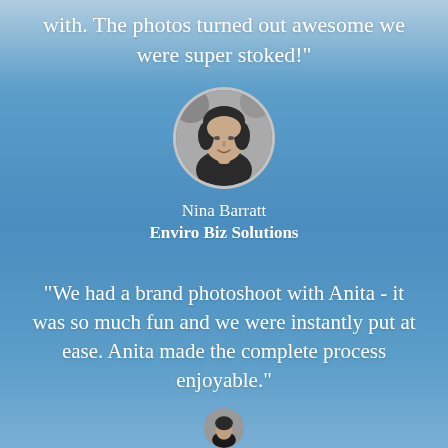with. The photos turned out awesome we were super stoked!"
[Figure (photo): Circular black and white portrait photo of Nina Barratt]
Nina Barratt
Enviro Biz Solutions
"We had a brand photoshoot with Anita - it was so much fun and we were instantly put at ease. Anita made the complete process enjoyable."
[Figure (photo): Partial circular portrait photo visible at bottom of page]